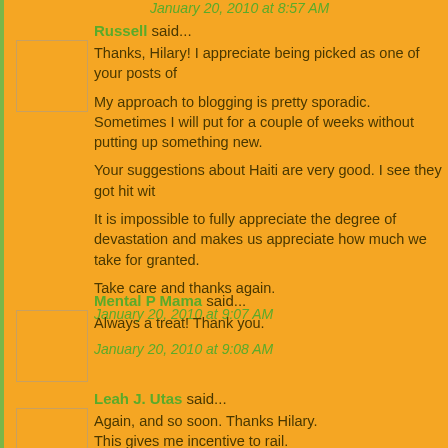January 20, 2010 at 8:57 AM
Russell said...
Thanks, Hilary! I appreciate being picked as one of your posts of

My approach to blogging is pretty sporadic. Sometimes I will put for a couple of weeks without putting up something new.

Your suggestions about Haiti are very good. I see they got hit wit

It is impossible to fully appreciate the degree of devastation and makes us appreciate how much we take for granted.

Take care and thanks again.
January 20, 2010 at 9:07 AM
Mental P Mama said...
Always a treat! Thank you.
January 20, 2010 at 9:08 AM
Leah J. Utas said...
Again, and so soon. Thanks Hilary.
This gives me incentive to rail.